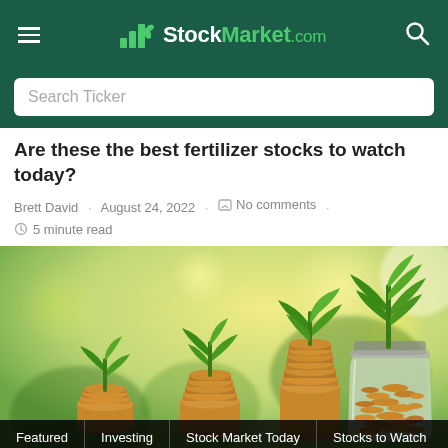StockMarket.com
Search Ticker
Are these the best fertilizer stocks to watch today?
Brett David · August 24, 2022 · No comments · 5 minute read
[Figure (photo): Photo of three stacks of coins with green seedlings growing from them, and a glass jar full of coins with a larger plant, against a blurred green/yellow bokeh background. Tags bar at bottom shows: Featured | Investing | Stock Market Today | Stocks to Watch]